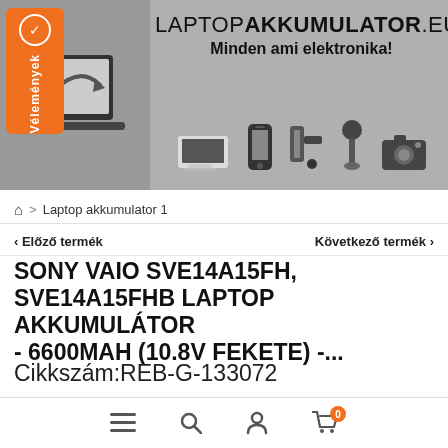[Figure (screenshot): Website header banner for laptopakkumulator.eu showing laptop graphic on left, site name and tagline, and product icons (laptop, phone, drill, vacuum, camera) on gray background with orange badge reading Vélemények]
⌂  >  Laptop akkumulator 1
‹ Előző termék    Következő termék ›
SONY VAIO SVE14A15FH, SVE14A15FHB LAPTOP AKKUMULÁTOR - 6600MAH (10.8V FEKETE) -...
Cikkszám:REB-G-133072
[Figure (other): Facebook circle icon and blue Tetszik 0 (Like 0) button]
≡  🔍  👤  🛒 0